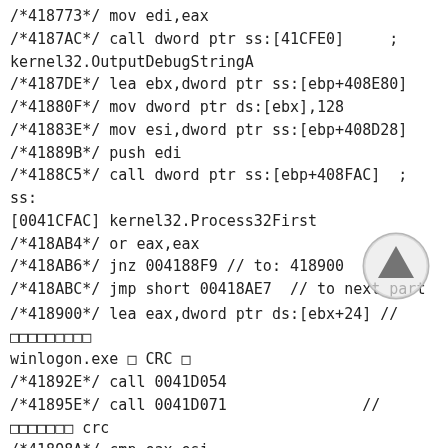/*418773*/  mov edi,eax
/*4187AC*/  call dword ptr ss:[41CFE0]    ;  kernel32.OutputDebugStringA
/*4187DE*/  lea ebx,dword ptr ss:[ebp+408E80]
/*41880F*/  mov dword ptr ds:[ebx],128
/*41883E*/  mov esi,dword ptr ss:[ebp+408D28]
/*41889B*/  push edi
/*4188C5*/  call dword ptr ss:[ebp+408FAC]  ; ss:[0041CFAC] kernel32.Process32First
/*418AB4*/  or eax,eax
/*418AB6*/  jnz 004188F9 // to: 418900
/*418ABC*/  jmp short 00418AE7  // to next part
/*418900*/  lea eax,dword ptr ds:[ebx+24] // □□□□□□□□□ winlogon.exe □ CRC □
/*41892E*/  call 0041D054
/*41895E*/  call 0041D071              // □□□□□□□ crc
/*41898A*/  cmp eax,esi